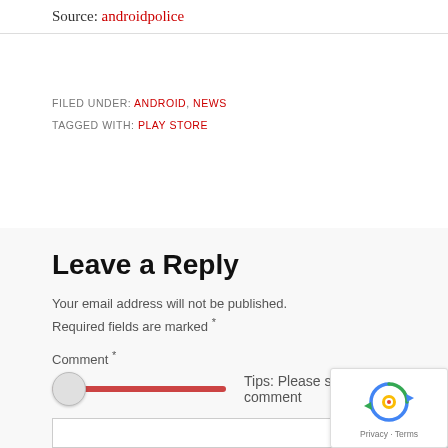Source: androidpolice
FILED UNDER: ANDROID, NEWS
TAGGED WITH: PLAY STORE
Leave a Reply
Your email address will not be published. Required fields are marked *
Comment *
Tips: Please slide to unlock to comment